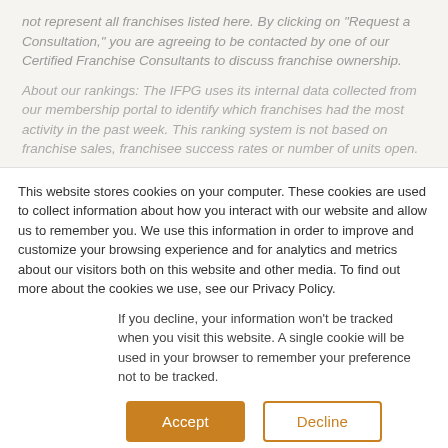not represent all franchises listed here. By clicking on "Request a Consultation," you are agreeing to be contacted by one of our Certified Franchise Consultants to discuss franchise ownership.
About our rankings: The IFPG uses its internal data collected from our membership portal to identify which franchises had the most activity in the past week. This ranking system is not based on franchise sales, franchisee success rates or number of units open.
This website stores cookies on your computer. These cookies are used to collect information about how you interact with our website and allow us to remember you. We use this information in order to improve and customize your browsing experience and for analytics and metrics about our visitors both on this website and other media. To find out more about the cookies we use, see our Privacy Policy.
If you decline, your information won't be tracked when you visit this website. A single cookie will be used in your browser to remember your preference not to be tracked.